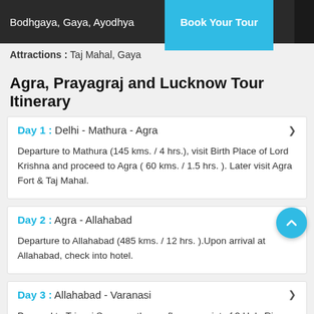Bodhgaya, Gaya, Ayodhya | Book Your Tour
Attractions : Taj Mahal, Gaya
Agra, Prayagraj and Lucknow Tour Itinerary
Day 1 : Delhi - Mathura - Agra
Departure to Mathura (145 kms. / 4 hrs.), visit Birth Place of Lord Krishna and proceed to Agra ( 60 kms. / 1.5 hrs. ). Later visit Agra Fort & Taj Mahal.
Day 2 : Agra - Allahabad
Departure to Allahabad (485 kms. / 12 hrs. ).Upon arrival at Allahabad, check into hotel.
Day 3 : Allahabad - Varanasi
Proceed to Triveni Sangam, the confluence point of 3 Holy Rivers - Ganga, Yamuna and invisible Saraswati. After Allahabad, Proceed to Visit...